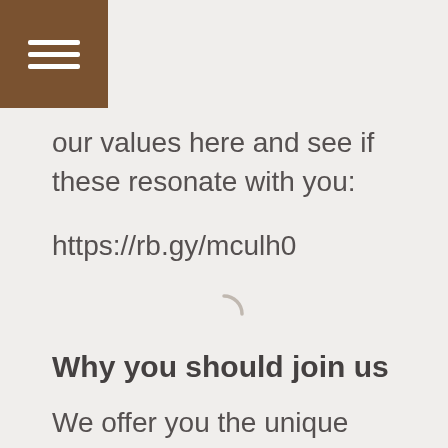[Figure (other): Brown hamburger menu icon button in top-left corner]
our values here and see if these resonate with you:
https://rb.gy/mculh0
[Figure (other): Loading spinner arc icon]
Why you should join us
We offer you the unique opportunity to use your skills to make a true impact, as healthy sustainable seafood alternatives are needed more urgently than ever. You will work in an inspiring fast-paced environment together with other ambitious and purpose-driven